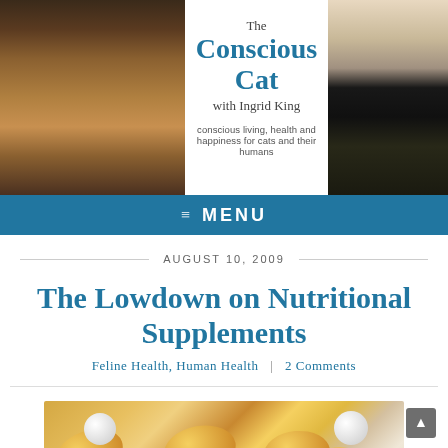[Figure (photo): The Conscious Cat website header banner with a tortoiseshell cat on the left, a woman holding a black cat on the right, and the logo text in the center reading 'The Conscious Cat with Ingrid King' with tagline 'conscious living, health and happiness for cats and their humans']
≡  MENU
AUGUST 10, 2009
The Lowdown on Nutritional Supplements
Feline Health, Human Health  |  2 Comments
[Figure (photo): Close-up photo of nutritional supplement capsules and pills — amber/gold gel capsules and white round pills scattered together]